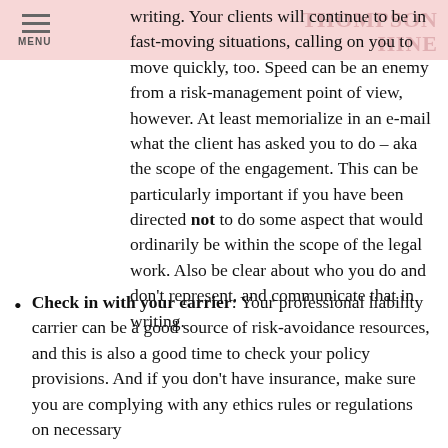MENU | THOMPSON HINE
writing. Your clients will continue to be in fast-moving situations, calling on you to move quickly, too. Speed can be an enemy from a risk-management point of view, however. At least memorialize in an e-mail what the client has asked you to do – aka the scope of the engagement. This can be particularly important if you have been directed not to do some aspect that would ordinarily be within the scope of the legal work. Also be clear about who you do and don't represent, and communicate that in writing.
Check in with your carrier: Your professional liability carrier can be a good source of risk-avoidance resources, and this is also a good time to check your policy provisions. And if you don't have insurance, make sure you are complying with any ethics rules or regulations on necessary